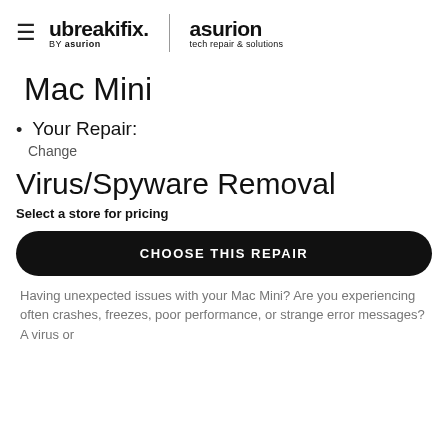ubreakifix. by asurion | asurion tech repair & solutions
Mac Mini
Your Repair:
Change
Virus/Spyware Removal
Select a store for pricing
CHOOSE THIS REPAIR
Having unexpected issues with your Mac Mini? Are you experiencing often crashes, freezes, poor performance, or strange error messages? A virus or